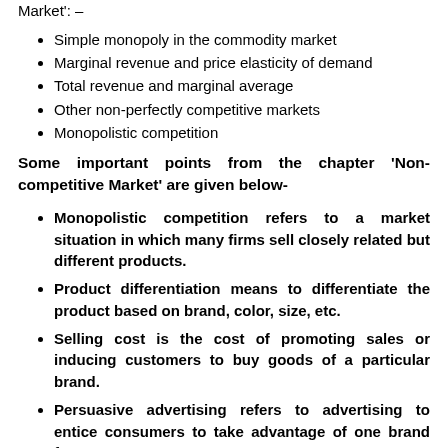Below is a list of topics from the chapter 'Non-competitive Market': –
Simple monopoly in the commodity market
Marginal revenue and price elasticity of demand
Total revenue and marginal average
Other non-perfectly competitive markets
Monopolistic competition
Some important points from the chapter 'Non-competitive Market' are given below-
Monopolistic competition refers to a market situation in which many firms sell closely related but different products.
Product differentiation means to differentiate the product based on brand, color, size, etc.
Selling cost is the cost of promoting sales or inducing customers to buy goods of a particular brand.
Persuasive advertising refers to advertising to entice consumers to take advantage of one brand from